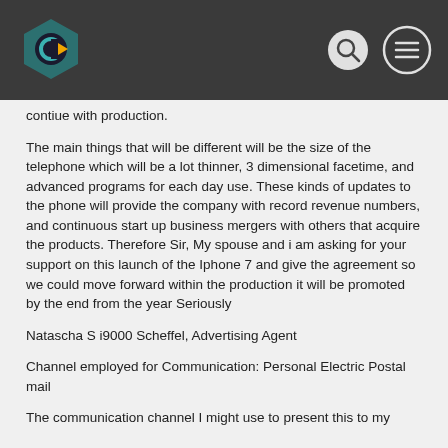contiue with production.
The main things that will be different will be the size of the telephone which will be a lot thinner, 3 dimensional facetime, and advanced programs for each day use. These kinds of updates to the phone will provide the company with record revenue numbers, and continuous start up business mergers with others that acquire the products. Therefore Sir, My spouse and i am asking for your support on this launch of the Iphone 7 and give the agreement so we could move forward within the production it will be promoted by the end from the year Seriously
Natascha S i9000 Scheffel, Advertising Agent
Channel employed for Communication: Personal Electric Postal mail
The communication channel I might use to present this to my